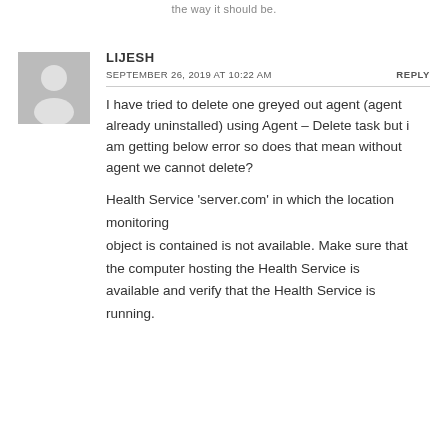the way it should be.
LIJESH
SEPTEMBER 26, 2019 AT 10:22 AM
REPLY
I have tried to delete one greyed out agent (agent already uninstalled) using Agent – Delete task but i am getting below error so does that mean without agent we cannot delete?
Health Service 'server.com' in which the location monitoring object is contained is not available. Make sure that the computer hosting the Health Service is available and verify that the Health Service is running.